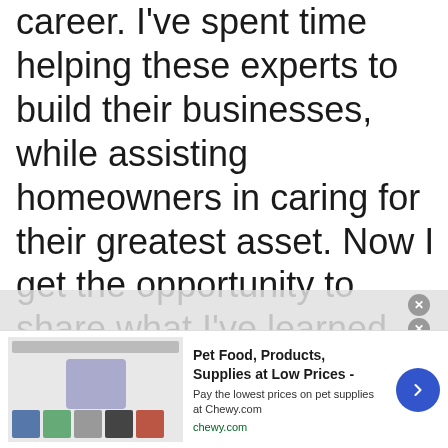career. I've spent time helping these experts to build their businesses, while assisting homeowners in caring for their greatest asset. Now I get the opportunity to share what I've learned.
[Figure (screenshot): Advertisement banner for Chewy.com showing pet food and supplies with bold headline 'Pet Food, Products, Supplies at Low Prices -', subtitle 'Pay the lowest prices on pet supplies at Chewy.com', domain 'chewy.com', product images, and a blue circular arrow button.]